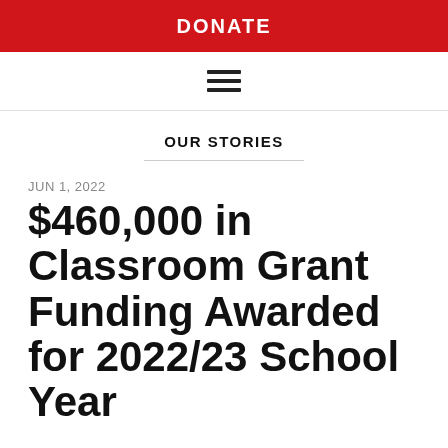DONATE
OUR STORIES
JUN 1, 2022
$460,000 in Classroom Grant Funding Awarded for 2022/23 School Year